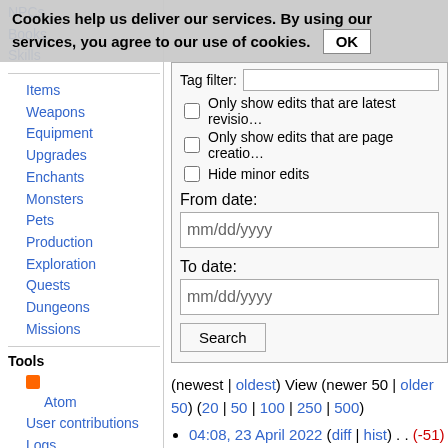Cookies help us deliver our services. By using our services, you agree to our use of cookies. OK
NPCs
Books
Skills
Items
Weapons
Equipment
Upgrades
Enchants
Monsters
Pets
Production
Exploration
Quests
Dungeons
Missions
Tools
Atom
User contributions
Logs
View user groups
Special pages
Printable version
Affiliates
Tag filter: [input] Only show edits that are latest revision Only show edits that are page creation Hide minor edits From date: mm/dd/yyyy To date: mm/dd/yyyy Search
(newest | oldest) View (newer 50 | older 50) (20 | 50 | 100 | 250 | 500)
04:08, 23 April 2022 (diff | hist) . . (-51) . . m User:Erorserv/Talent Training Guide (current)
04:06, 23 April 2022 (diff | hist) . .